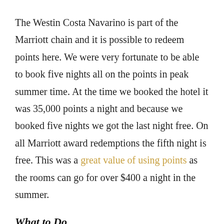The Westin Costa Navarino is part of the Marriott chain and it is possible to redeem points here. We were very fortunate to be able to book five nights all on the points in peak summer time. At the time we booked the hotel it was 35,000 points a night and because we booked five nights we got the last night free. On all Marriott award redemptions the fifth night is free. This was a great value of using points as the rooms can go for over $400 a night in the summer.
What to Do
Even if you aren't able to use points, the Westin